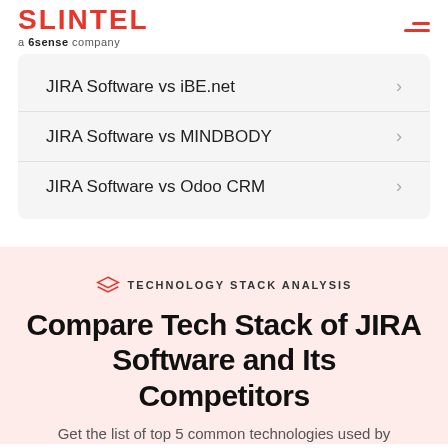SLINTEL a 6sense company
JIRA Software vs iBE.net
JIRA Software vs MINDBODY
JIRA Software vs Odoo CRM
TECHNOLOGY STACK ANALYSIS
Compare Tech Stack of JIRA Software and Its Competitors
Get the list of top 5 common technologies used by